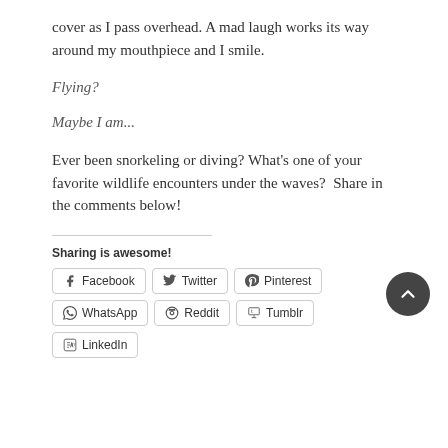cover as I pass overhead. A mad laugh works its way around my mouthpiece and I smile.
Flying?
Maybe I am...
Ever been snorkeling or diving? What's one of your favorite wildlife encounters under the waves?  Share in the comments below!
Sharing is awesome!
Facebook  Twitter  Pinterest  WhatsApp  Reddit  Tumblr  LinkedIn